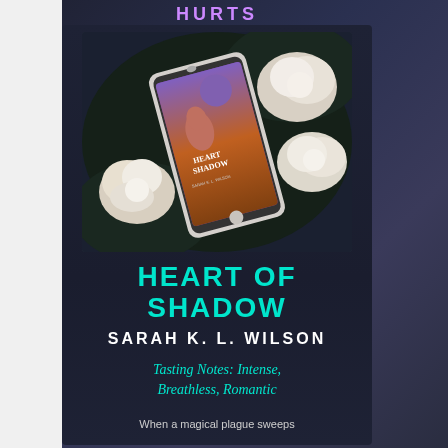HURTS
[Figure (photo): Smartphone displaying the book cover of 'Heart of Shadow' by Sarah K. L. Wilson, surrounded by white roses on a dark background]
HEART OF SHADOW
SARAH K. L. WILSON
Tasting Notes: Intense, Breathless, Romantic
When a magical plague sweeps